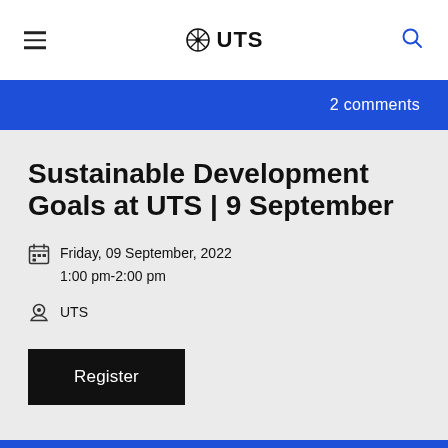UTS
2 comments
Sustainable Development Goals at UTS | 9 September
Friday, 09 September, 2022
1:00 pm-2:00 pm
UTS
Register